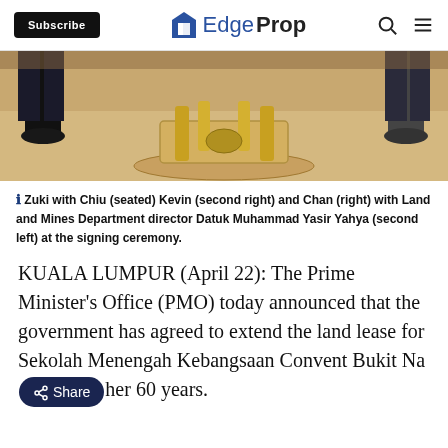Subscribe | EdgeProp
[Figure (photo): Photo of people at a signing ceremony, showing their lower bodies and a decorative table at the bottom of a cropped image.]
ℹ Zuki with Chiu (seated) Kevin (second right) and Chan (right) with Land and Mines Department director Datuk Muhammad Yasir Yahya (second left) at the signing ceremony.
KUALA LUMPUR (April 22): The Prime Minister's Office (PMO) today announced that the government has agreed to extend the land lease for Sekolah Menengah Kebangsaan Convent Bukit Namas for another 60 years.